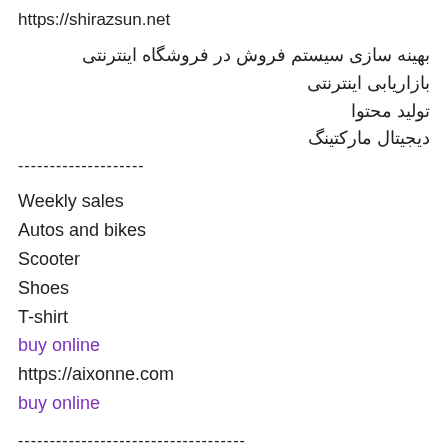https://shirazsun.net
بهینه سازی سیستم فروش در فروشگاه اینترنتی
بازاریابی اینترنتی
تولید محتوا
دیجیتال مارکتینگ
--------------------
Weekly sales
Autos and bikes
Scooter
Shoes
T-shirt
buy online
https://aixonne.com
buy online
------------------------------------
سفارش آنلاین نان
سفارش آنلاین نان
عضو شو و نان داغ و تازه را درب منزل تحویل بگیر